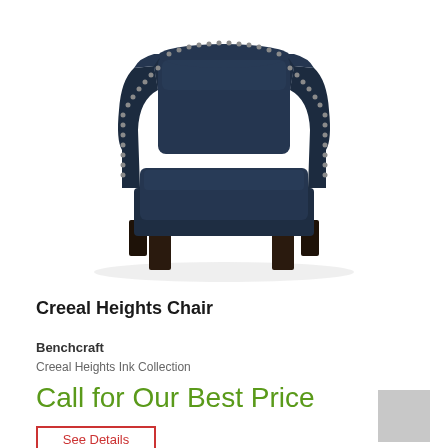[Figure (photo): A navy/ink blue upholstered accent chair with nailhead trim along the arms and back edges, square cushioned seat, and dark espresso wooden legs. The chair is photographed on a white background at a slight 3/4 angle.]
Creeal Heights Chair
Benchcraft
Creeal Heights Ink Collection
Call for Our Best Price
See Details